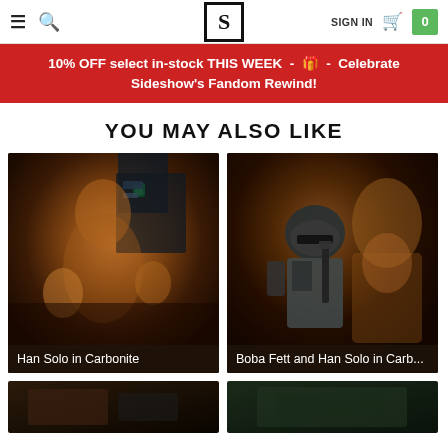☰ 🔍 S SIGN IN 🛒 0
10% OFF select in-stock THIS WEEK - 🎁 - Celebrate Sideshow's Fandom Rewind!
YOU MAY ALSO LIKE
[Figure (photo): Han Solo in Carbonite collectible figure, bronze/metallic finish]
Han Solo in Carbonite
[Figure (photo): Boba Fett and Han Solo in Carbonite collectible figure]
Boba Fett and Han Solo in Carb...
[Figure (photo): Partially visible product image at bottom left]
[Figure (photo): Partially visible product image at bottom right]